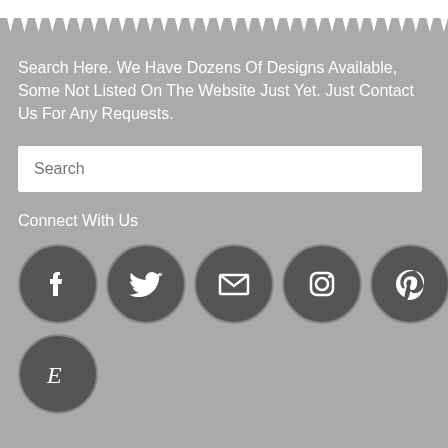[Figure (other): White bar at top followed by zigzag/chevron decorative border strip]
Search Here. We Have Dozens Of Designs Available, Some Not Listed On The Website Just Yet. Just Contact Us For Any Requests.
[Figure (other): Search input field with placeholder text 'Search']
Connect With Us
[Figure (other): Row of social media icon circles: Facebook, Twitter, Email/Envelope, Instagram, Pinterest]
[Figure (other): Etsy icon circle (partial, bottom of page)]